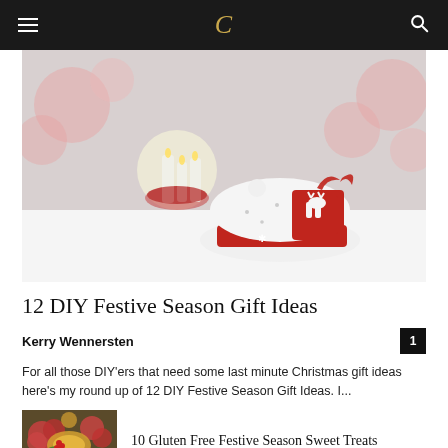C
[Figure (photo): Christmas-themed photo showing a red and white knitted Santa hat with a reindeer motif and red ribbon, resting in snow alongside glowing white candles and red decorations, with soft pink bokeh lights in the background.]
12 DIY Festive Season Gift Ideas
Kerry Wennersten
For all those DIY'ers that need some last minute Christmas gift ideas here's my round up of 12 DIY Festive Season Gift Ideas. I...
[Figure (photo): Thumbnail image of festive Christmas food arrangement with holly, berries, oranges and greenery.]
10 Gluten Free Festive Season Sweet Treats